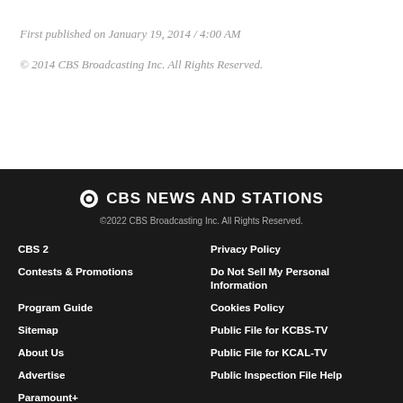First published on January 19, 2014 / 4:00 AM
© 2014 CBS Broadcasting Inc. All Rights Reserved.
CBS NEWS AND STATIONS
©2022 CBS Broadcasting Inc. All Rights Reserved.
CBS 2 | Contests & Promotions | Program Guide | Sitemap | About Us | Advertise | Paramount+ | Privacy Policy | Do Not Sell My Personal Information | Cookies Policy | Public File for KCBS-TV | Public File for KCAL-TV | Public Inspection File Help